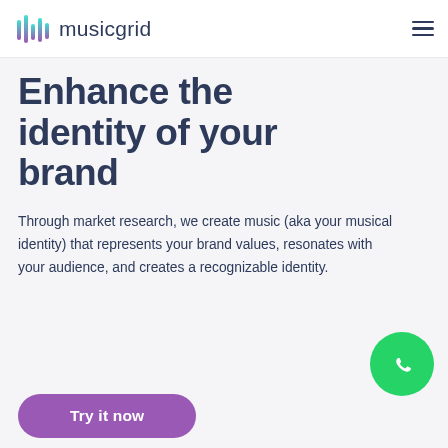musicgrid
Enhance the identity of your brand
Through market research, we create music (aka your musical identity) that represents your brand values, resonates with your audience, and creates a recognizable identity.
[Figure (logo): WhatsApp contact button (green circle with WhatsApp phone icon)]
Try it now